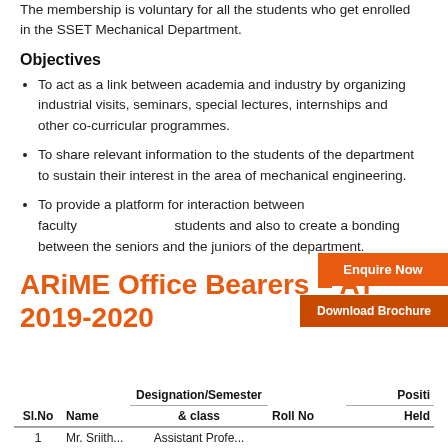The membership is voluntary for all the students who get enrolled in the SSET Mechanical Department.
Objectives
To act as a link between academia and industry by organizing industrial visits, seminars, special lectures, internships and other co-curricular programmes.
To share relevant information to the students of the department to sustain their interest in the area of mechanical engineering.
To provide a platform for interaction between faculty students and also to create a bonding between the seniors and the juniors of the department.
ARiME Office Bearers – AY 2019-2020
| Sl.No | Name | Designation/Semester & class | Roll No | Position Held |
| --- | --- | --- | --- | --- |
| 1 | Mr. Sriith... | Assistant Profe... |  |  |